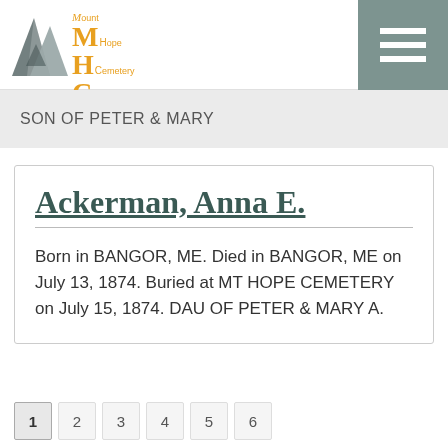[Figure (logo): Mount Hope Cemetery Corporation & Crematory logo with triangular mountain graphic and orange/gold MHC letters]
SON OF PETER & MARY
Ackerman, Anna E.
Born in BANGOR, ME. Died in BANGOR, ME on July 13, 1874. Buried at MT HOPE CEMETERY on July 15, 1874. DAU OF PETER & MARY A.
1 2 3 4 5 6